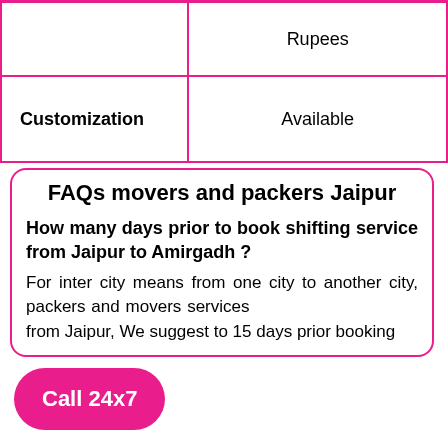|  | Rupees |
| Customization | Available |
FAQs movers and packers Jaipur
How many days prior to book shifting service from Jaipur to Amirgadh ?
For inter city means from one city to another city, packers and movers services from Jaipur, We suggest to 15 days prior booking